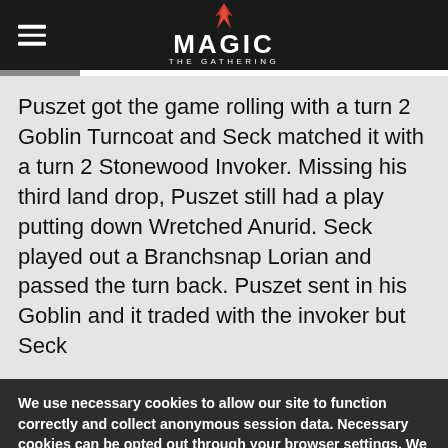MAGIC THE GATHERING
Puszet got the game rolling with a turn 2 Goblin Turncoat and Seck matched it with a turn 2 Stonewood Invoker. Missing his third land drop, Puszet still had a play putting down Wretched Anurid. Seck played out a Branchsnap Lorian and passed the turn back. Puszet sent in his Goblin and it traded with the invoker but Seck
We use necessary cookies to allow our site to function correctly and collect anonymous session data. Necessary cookies can be opted out through your browser settings. We also use optional cookies to personalize content and ads, provide social medial features and analyze web traffic. By clicking "OK, I agree," you consent to optional cookies.
(Learn more about cookies.)
OK, I agree   No, thanks